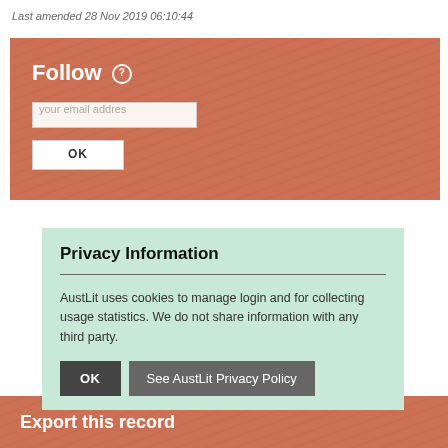Last amended 28 Nov 2019 06:10:44
Follow
your email address
OK
Privacy Information
AustLit uses cookies to manage login and for collecting usage statistics. We do not share information with any third party.
OK
See AustLit Privacy Policy
Export this record